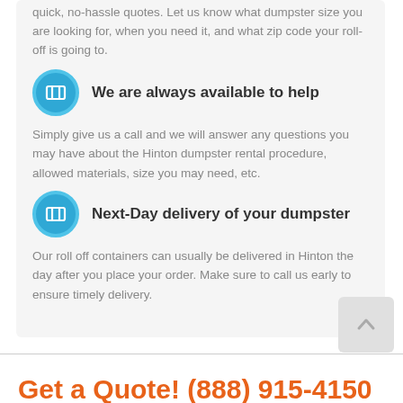quick, no-hassle quotes. Let us know what dumpster size you are looking for, when you need it, and what zip code your roll-off is going to.
We are always available to help
Simply give us a call and we will answer any questions you may have about the Hinton dumpster rental procedure, allowed materials, size you may need, etc.
Next-Day delivery of your dumpster
Our roll off containers can usually be delivered in Hinton the day after you place your order. Make sure to call us early to ensure timely delivery.
Get a Quote! (888) 915-4150